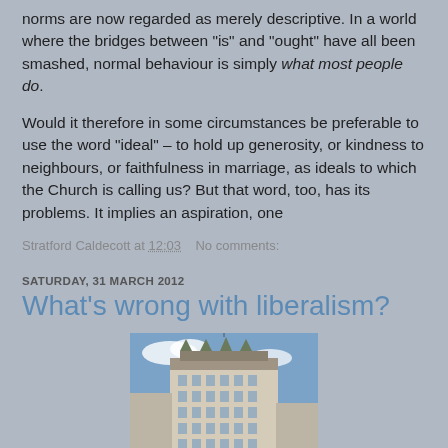norms are now regarded as merely descriptive. In a world where the bridges between "is" and "ought" have all been smashed, normal behaviour is simply what most people do.
Would it therefore in some circumstances be preferable to use the word "ideal" – to hold up generosity, or kindness to neighbours, or faithfulness in marriage, as ideals to which the Church is calling us? But that word, too, has its problems. It implies an aspiration, one
Stratford Caldecott at 12:03    No comments:
SATURDAY, 31 MARCH 2012
What's wrong with liberalism?
[Figure (photo): Photo of a tall multi-story building with ornate architecture against a blue sky, appears to be a historic hotel or office building in an urban setting.]